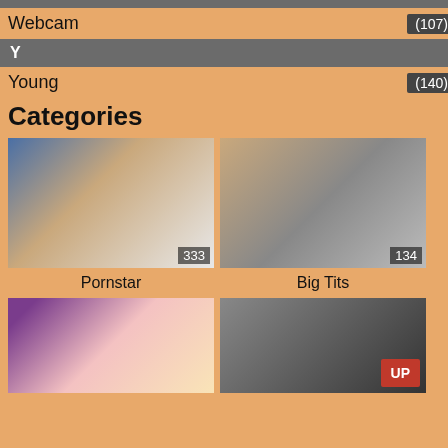Webcam (107)
Y
Young (140)
Categories
[Figure (photo): Thumbnail image with count 333, labeled Pornstar]
Pornstar
[Figure (photo): Thumbnail image with count 134, labeled Big Tits]
Big Tits
[Figure (photo): Bottom left thumbnail image]
[Figure (photo): Bottom right thumbnail image with UP badge]